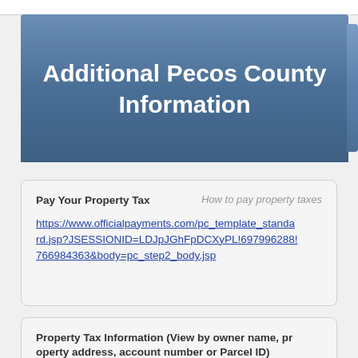Additional Pecos County Information
Pay Your Property Tax
How to pay property taxes
https://www.officialpayments.com/pc_template_standard.jsp?JSESSIONID=LDJpJGhFpDCXyPL!697996288!766984363&body=pc_step2_body.jsp
Property Tax Information (View by owner name, property address, account number or Parcel ID)
http://www.pecoscad.org/(S(bkyymfjg1hr4meegsh5nkr55))/search.aspx?clientid=pecoscad
Property Tax Search Tool